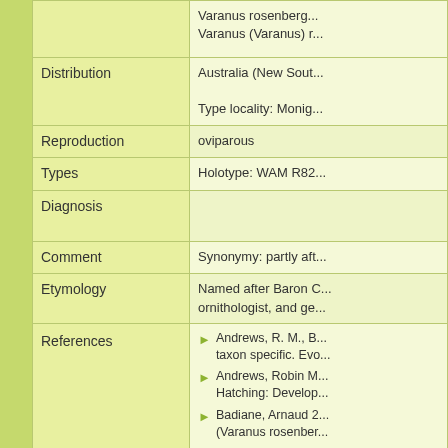| Field | Value |
| --- | --- |
|  | Varanus rosenbergi...
Varanus (Varanus) r... |
| Distribution | Australia (New Sout...
Type locality: Monig... |
| Reproduction | oviparous |
| Types | Holotype: WAM R82... |
| Diagnosis |  |
| Comment | Synonymy: partly aft... |
| Etymology | Named after Baron C... ornithologist, and ge... |
| References | Andrews, R. M., B... taxon specific. Evo...
Andrews, Robin M... Hatching: Develop...
Badiane, Arnaud 2... (Varanus rosenber...
Bennet, D.F. 2003...
Bennet, D.F. 2003...
Beolens, Bo; Mich... University Press, B... |